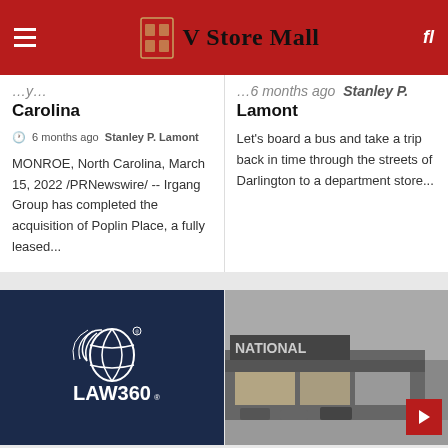V Store Mall
Carolina
6 months ago  Stanley P. Lamont
MONROE, North Carolina, March 15, 2022 /PRNewswire/ -- Irgang Group has completed the acquisition of Poplin Place, a fully leased...
...Stanley P. Lamont
Let's board a bus and take a trip back in time through the streets of Darlington to a department store...
[Figure (logo): LAW360 logo on dark navy background]
[Figure (photo): Black and white photo of a National department store exterior at night]